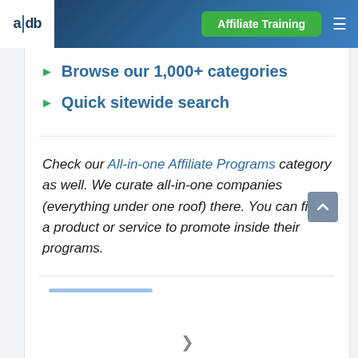a|db — Affiliate Training
Browse our 1,000+ categories
Quick sitewide search
Check our All-in-one Affiliate Programs category as well. We curate all-in-one companies (everything under one roof) there. You can find a product or service to promote inside their programs.